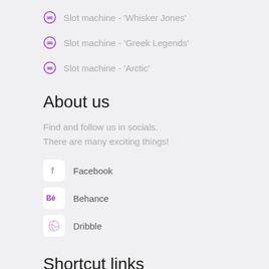Slot machine - 'Whisker Jones'
Slot machine - 'Greek Legends'
Slot machine - 'Arctic'
About us
Find and follow us in socials.
There are many exciting things!
Facebook
Behance
Dribble
Shortcut links
Check out our new slots, which we've designed with the be
team!